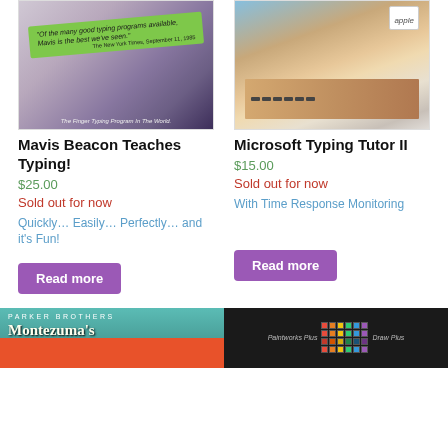[Figure (photo): Mavis Beacon Teaches Typing software box with green label quote]
Mavis Beacon Teaches Typing!
$25.00
Sold out for now
Quickly… Easily… Perfectly… and it's Fun!
Read more
[Figure (photo): Microsoft Typing Tutor II software box showing hands on Apple keyboard]
Microsoft Typing Tutor II
$15.00
Sold out for now
With Time Response Monitoring
Read more
[Figure (photo): Parker Brothers Montezuma's game box, teal with red logo]
[Figure (photo): Dark background product box with pen and grid pattern]